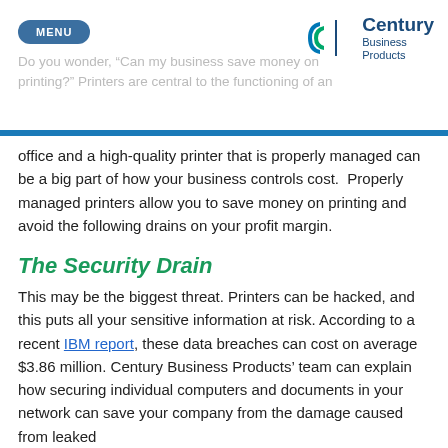MENU | Century Business Products
Do you wonder, “Can my business save money on printing?” Printers are central to the functioning of an
office and a high-quality printer that is properly managed can be a big part of how your business controls cost.  Properly managed printers allow you to save money on printing and avoid the following drains on your profit margin.
The Security Drain
This may be the biggest threat. Printers can be hacked, and this puts all your sensitive information at risk. According to a recent IBM report, these data breaches can cost on average $3.86 million. Century Business Products’ team can explain how securing individual computers and documents in your network can save your company from the damage caused from leaked